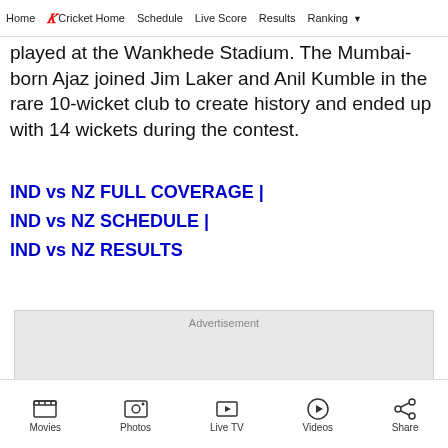Home | Cricket Home | Schedule | Live Score | Results | Ranking
played at the Wankhede Stadium. The Mumbai-born Ajaz joined Jim Laker and Anil Kumble in the rare 10-wicket club to create history and ended up with 14 wickets during the contest.
IND vs NZ FULL COVERAGE | IND vs NZ SCHEDULE | IND vs NZ RESULTS
[Figure (other): Advertisement placeholder box with close button]
Movies | Photos | Live TV | Videos | Share